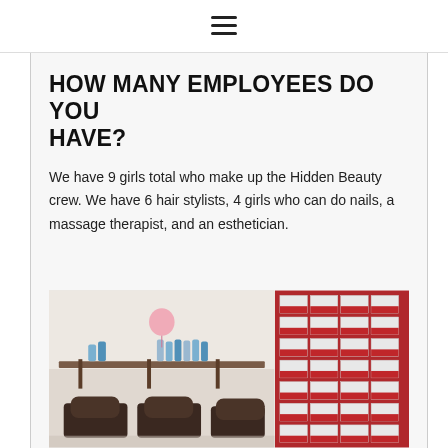≡
HOW MANY EMPLOYEES DO YOU HAVE?
We have 9 girls total who make up the Hidden Beauty crew. We have 6 hair stylists, 4 girls who can do nails, a massage therapist, and an esthetician.
[Figure (photo): Left photo: salon interior with shampoo bowls and product shelf with bottles and a pink balloon. Right photo: shelves stocked with red and white product boxes.]